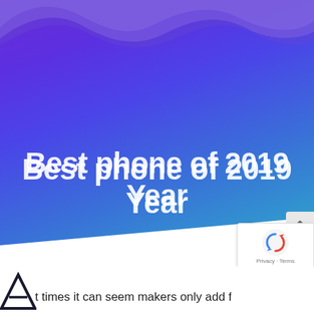[Figure (illustration): Hero banner with purple-to-blue gradient background and wave decoration at top, diagonal white cut at bottom, containing the title text 'Best phone of 2019 Year']
Best phone of 2019 Year
[Figure (logo): Google reCAPTCHA badge with recycling-arrow icon and 'Privacy · Terms' text]
t times it can seem makers only add features